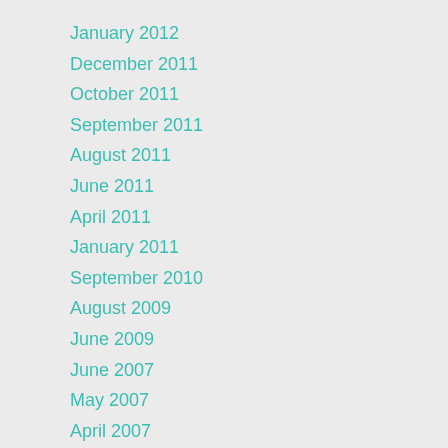January 2012
December 2011
October 2011
September 2011
August 2011
June 2011
April 2011
January 2011
September 2010
August 2009
June 2009
June 2007
May 2007
April 2007
February 2007